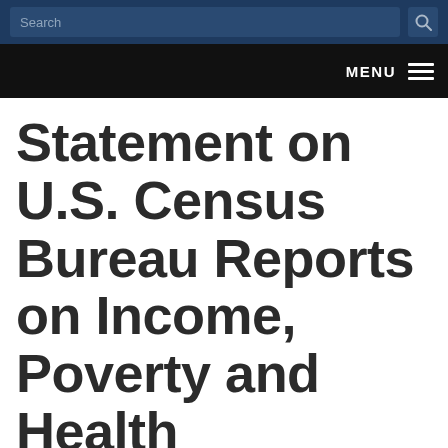Search
MENU
Statement on U.S. Census Bureau Reports on Income, Poverty and Health